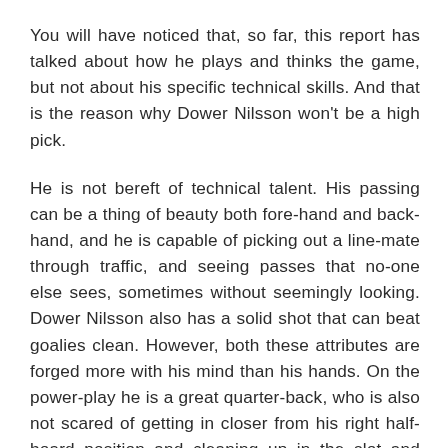You will have noticed that, so far, this report has talked about how he plays and thinks the game, but not about his specific technical skills. And that is the reason why Dower Nilsson won't be a high pick.
He is not bereft of technical talent. His passing can be a thing of beauty both fore-hand and back-hand, and he is capable of picking out a line-mate through traffic, and seeing passes that no-one else sees, sometimes without seemingly looking. Dower Nilsson also has a solid shot that can beat goalies clean. However, both these attributes are forged more with his mind than his hands. On the power-play he is a great quarter-back, who is also not scared of getting in closer from his right half-board position and cleaning up in the slot and around the net.